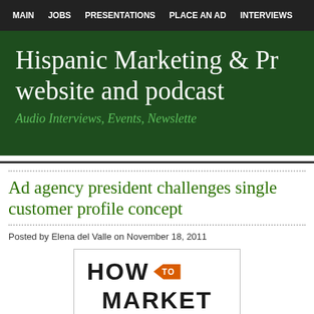MAIN  JOBS  PRESENTATIONS  PLACE AN AD  INTERVIEWS
Hispanic Marketing & Pr website and podcast
Audio Interviews, Events, Newslette
Ad agency president challenges single customer profile concept
Posted by Elena del Valle on November 18, 2011
[Figure (illustration): Book cover image showing 'HOW TO MARKET' text with an orange arrow pointing left labeled 'to']